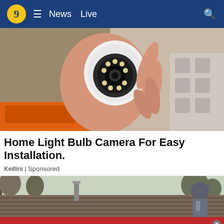9 ≡ News Live 🔍
[Figure (photo): Hand holding a round white light bulb security camera with LED ring, orange drill visible below, boxes in background]
Home Light Bulb Camera For Easy Installation.
Keillini | Sponsored
[Figure (photo): Rooftop with chimney pipe, bare trees in background, person in gray cap visible on right side]
[Figure (infographic): Red advertisement banner: A higher degree of care — START TODAY — Baton Rouge Community College logo, with close button]